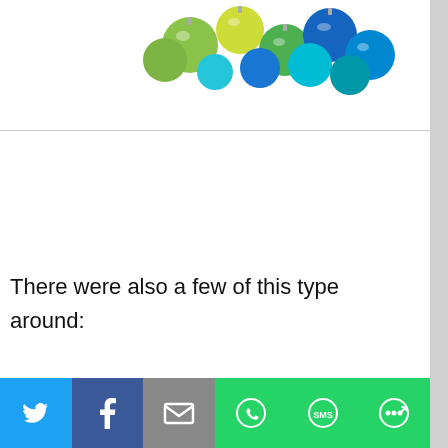[Figure (photo): Top portion of colorful Christmas ornaments (blue, green, teal) against white background, shown in a bordered image area]
There were also a few of this type around:
[Figure (photo): Top half of a Christmas wreath made of pine cones, red berries, and green leaves on white background]
[Figure (infographic): Social share bar at bottom with Twitter, Facebook, Email, WhatsApp, SMS, and More buttons]